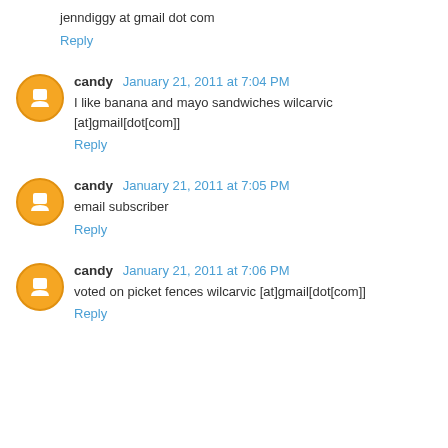jenndiggy at gmail dot com
Reply
candy  January 21, 2011 at 7:04 PM
I like banana and mayo sandwiches wilcarvic [at]gmail[dot[com]]
Reply
candy  January 21, 2011 at 7:05 PM
email subscriber
Reply
candy  January 21, 2011 at 7:06 PM
voted on picket fences wilcarvic [at]gmail[dot[com]]
Reply